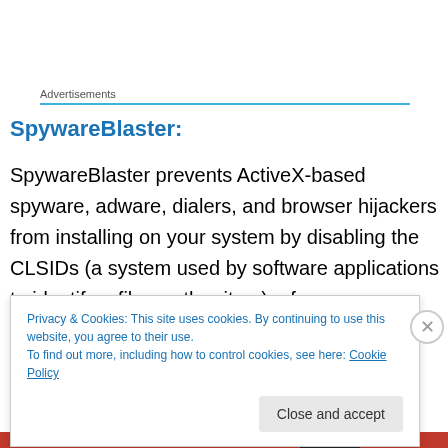Advertisements
SpywareBlaster:
SpywareBlaster prevents ActiveX-based spyware, adware, dialers, and browser hijackers from installing on your system by disabling the CLSIDs (a system used by software applications to identify a file or other item), of spyware ActiveX controls. As well, SpywareBlaster can
Privacy & Cookies: This site uses cookies. By continuing to use this website, you agree to their use.
To find out more, including how to control cookies, see here: Cookie Policy